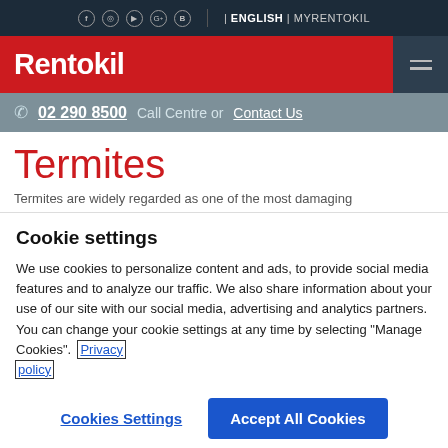f  ☺  ▶  G+  B  | ENGLISH | MYRENTOKIL
[Figure (logo): Rentokil logo in white text on red background with hamburger menu icon on dark background]
02 290 8500 Call Centre or Contact Us
Termites
Termites are widely regarded as one of the most damaging
Cookie settings
We use cookies to personalize content and ads, to provide social media features and to analyze our traffic. We also share information about your use of our site with our social media, advertising and analytics partners. You can change your cookie settings at any time by selecting "Manage Cookies". Privacy policy
Cookies Settings   Accept All Cookies